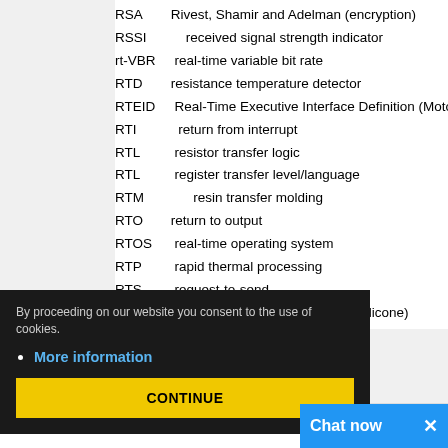RSA  Rivest, Shamir and Adelman (encryption)
RSSI   received signal strength indicator
rt-VBR  real-time variable bit rate
RTD resistance temperature detector
RTEID  Real-Time Executive Interface Definition (Motorola)
RTI  return from interrupt
RTL  resistor transfer logic
RTL  register transfer level/language
RTM      resin transfer molding
RTO return to output
RTOS  real-time operating system
RTP  rapid thermal processing
RTS  request-to-send
RTV  room-temperature-vulcanized (silicone)
SAM      serial access memory
By proceeding on our website you consent to the use of cookies.
More information
CONTINUE
Chat now  ×